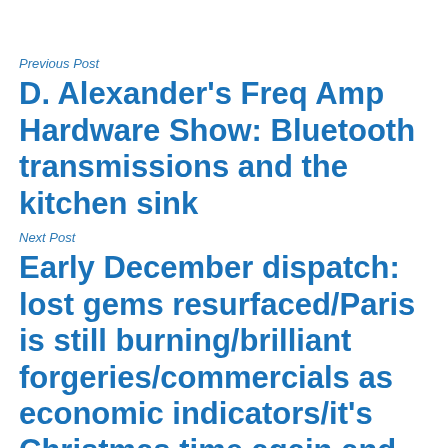Previous Post
D. Alexander's Freq Amp Hardware Show: Bluetooth transmissions and the kitchen sink
Next Post
Early December dispatch: lost gems resurfaced/Paris is still burning/brilliant forgeries/commercials as economic indicators/it's Christmas time again and again and again/and much, much